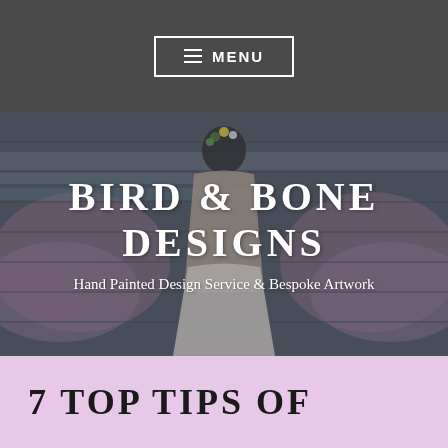≡ MENU
[Figure (photo): Woman seen from behind wearing a floral crown and a painted leather jacket, standing in front of a colorful mural with rainbow painted wings on a dark wooden wall. The site header shows the brand name Bird & Bone Designs over this photo.]
BIRD & BONE DESIGNS
Hand Painted Design Service & Bespoke Artwork
7 TOP TIPS OF